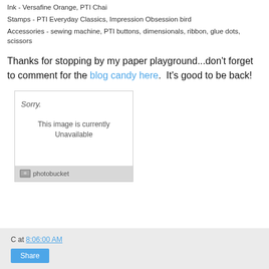Ink - Versafine Orange, PTI Chai
Stamps - PTI Everyday Classics, Impression Obsession bird
Accessories - sewing machine, PTI buttons, dimensionals, ribbon, glue dots, scissors
Thanks for stopping by my paper playground...don't forget to comment for the blog candy here.  It's good to be back!
[Figure (screenshot): Photobucket placeholder image showing 'Sorry. This image is currently Unavailable' with Photobucket logo at bottom]
C at 8:06:00 AM  Share